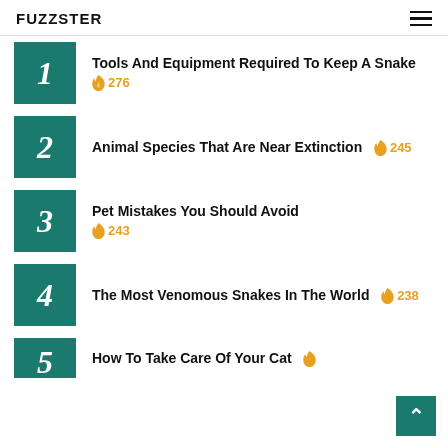FUZZSTER
Tools And Equipment Required To Keep A Snake 🔥 276
Animal Species That Are Near Extinction 🔥 245
Pet Mistakes You Should Avoid 🔥 243
The Most Venomous Snakes In The World 🔥 238
How To Take Care Of Your Cat 🔥 ...